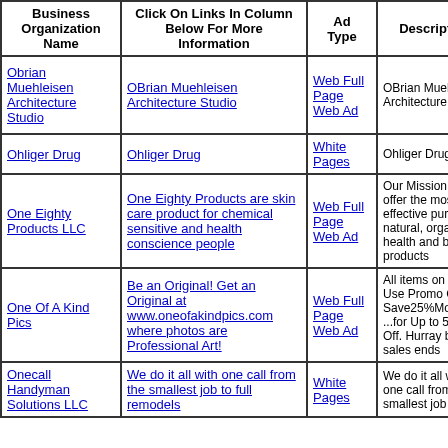| Business Organization Name | Click On Links In Column Below For More Information | Ad Type | Description |
| --- | --- | --- | --- |
| Obrian Muehleisen Architecture Studio | OBrian Muehleisen Architecture Studio | Web Full Page Web Ad | OBrian Muehleisen Architecture Studio |
| Ohliger Drug | Ohliger Drug | White Pages | Ohliger Drug |
| One Eighty Products LLC | One Eighty Products are skin care product for chemical sensitive and health conscience people | Web Full Page Web Ad | Our Mission ... to offer the most effective pure and natural, organic health and beauty products |
| One Of A Kind Pics | Be an Original! Get an Original at www.oneofakindpics.com where photos are Professional Art! | Web Full Page Web Ad | All items on sale. Use Promo Code... Save25%More ...for Up to 50% Off. Hurray before sales ends |
| Onecall Handyman Solutions LLC | We do it all with one call from the smallest job to full remodels | White Pages | We do it all with one call from the smallest job to full |